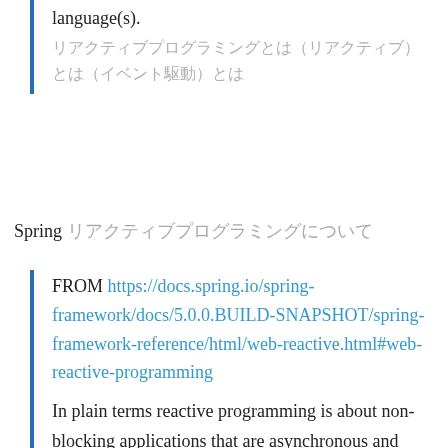language(s).
（リアクティブプログラミング）（非同期）とは（イベント駆動）とは
Spring リアクティブプログラミングについて
FROM https://docs.spring.io/spring-framework/docs/5.0.0.BUILD-SNAPSHOT/spring-framework-reference/html/web-reactive.html#web-reactive-programming
In plain terms reactive programming is about non-blocking applications that are asynchronous and event-driven and require a small number of threads to scale vertically (i.e. within the JVM)